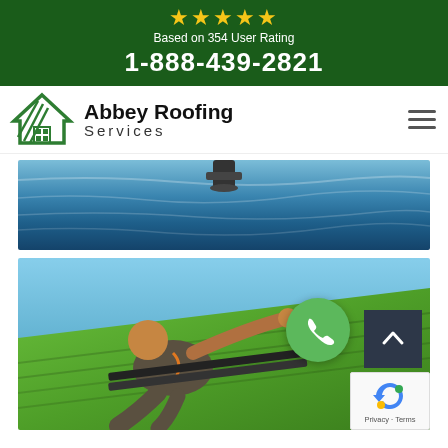★★★★★ Based on 354 User Rating 1-888-439-2821
[Figure (logo): Abbey Roofing Services logo with green house/roof icon]
Abbey Roofing Services
[Figure (photo): Blue flat roof surface with wrinkles and vent pipe]
[Figure (photo): Worker installing green roofing shingles on a sloped roof against blue sky, with green phone button overlay and dark scroll-to-top button]